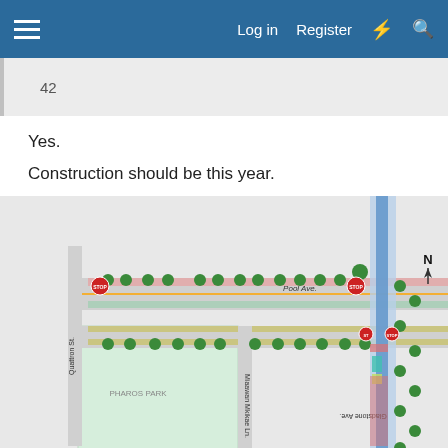Log in  Register
| 42 |
Yes.
Construction should be this year.
[Figure (map): Road construction map showing Pool Ave., Gladstone Ave., Miaawan Mkikae Ln., Quattron St., stop signs, trees, bike lanes, and park area labeled PHAROS PARK with compass north indicator.]